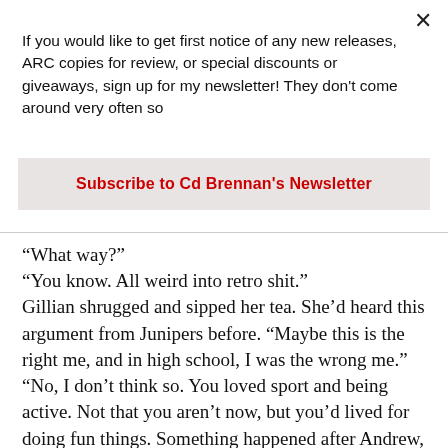If you would like to get first notice of any new releases, ARC copies for review, or special discounts or giveaways, sign up for my newsletter! They don't come around very often so
Subscribe to Cd Brennan's Newsletter
“What way?”
“You know. All weird into retro shit.”
Gillian shrugged and sipped her tea. She’d heard this argument from Junipers before. “Maybe this is the right me, and in high school, I was the wrong me.”
“No, I don’t think so. You loved sport and being active. Not that you aren’t now, but you’d lived for doing fun things. Something happened after Andrew, and you went all—”
“Stop right there. I love you, but I don’t want to